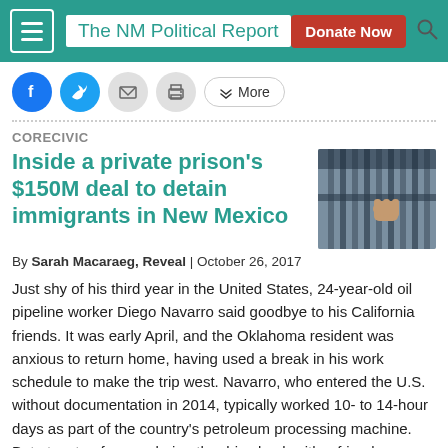The NM Political Report
CORECIVIC
Inside a private prison's $150M deal to detain immigrants in New Mexico
[Figure (photo): A hand gripping prison bars from behind, with vertical metal bars visible in the foreground.]
By Sarah Macaraeg, Reveal | October 26, 2017
Just shy of his third year in the United States, 24-year-old oil pipeline worker Diego Navarro said goodbye to his California friends. It was early April, and the Oklahoma resident was anxious to return home, having used a break in his work schedule to make the trip west. Navarro, who entered the U.S. without documentation in 2014, typically worked 10- to 14-hour days as part of the country's petroleum processing machine. But at a stop for gas during the drive back with a friend, Navarro was swept up in the billion-dollar business of private immigrant detention instead. This story was